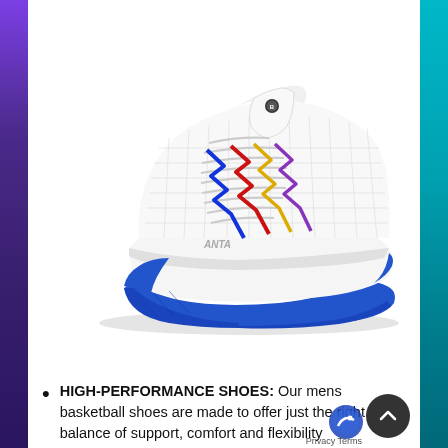[Figure (photo): White basketball shoe with blue sole and colorful zigzag lightning bolt pattern (blue, red, yellow, purple) on the upper. High-top style athletic sneaker displayed on white background.]
HIGH-PERFORMANCE SHOES: Our mens basketball shoes are made to offer just the right balance of support, comfort and flexibility